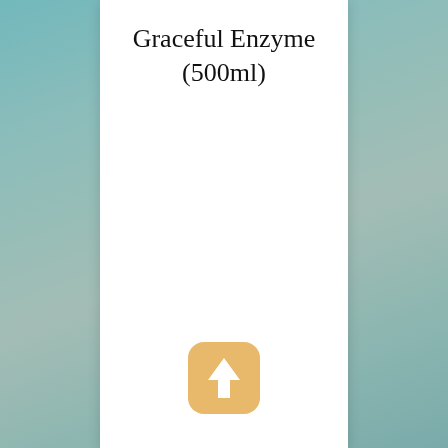Graceful Enzyme (500ml)
[Figure (illustration): An upward-pointing arrow icon with white arrow on a rounded square golden/tan background, resembling an upload or share button.]